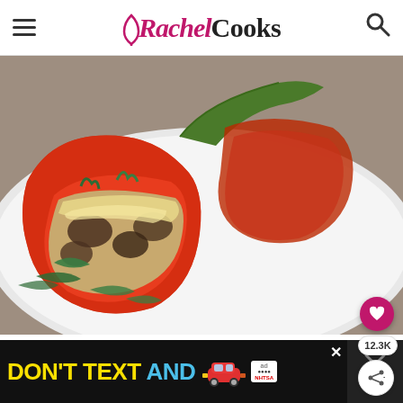Rachel Cooks
[Figure (photo): A stuffed red bell pepper filled with quinoa, mushrooms, and spinach, topped with melted cheese and fresh basil chiffonade, served on a white plate.]
[Figure (infographic): DON'T TEXT AND DRIVE public safety advertisement banner from NHTSA with a red car emoji and ad badge.]